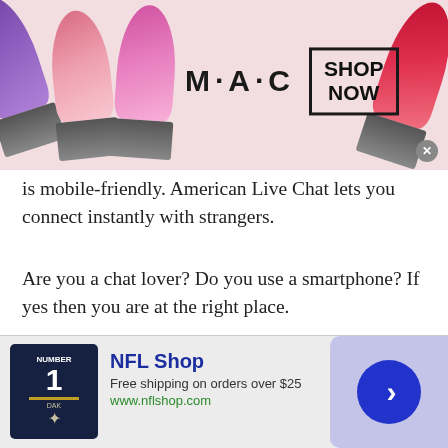[Figure (screenshot): MAC Cosmetics advertisement banner showing colorful lipsticks on left side, MAC logo text in center, and a 'SHOP NOW' box on the right with a close button]
is mobile-friendly. American Live Chat lets you connect instantly with strangers.
Are you a chat lover? Do you use a smartphone? If yes then you are at the right place.
American Live Chat rooms allow users to have a one-on-one chat with each other. TWS has introduced an app that allows users to chat using their smartphones. Get it on Google Play and start having fun with random strangers. Talk to strangers live and have all the fun.
[Figure (screenshot): NFL Shop advertisement banner showing a Dallas Cowboys jersey, NFL Shop text in blue, 'Free shipping on orders over $25', www.nflshop.com URL in green, and a blue arrow button on lavender background]